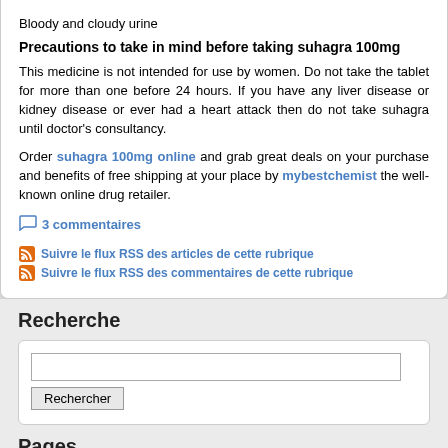Bloody and cloudy urine
Precautions to take in mind before taking suhagra 100mg
This medicine is not intended for use by women. Do not take the tablet for more than one before 24 hours. If you have any liver disease or kidney disease or ever had a heart attack then do not take suhagra until doctor's consultancy.
Order suhagra 100mg online and grab great deals on your purchase and benefits of free shipping at your place by mybestchemist the well-known online drug retailer.
3 commentaires
Suivre le flux RSS des articles de cette rubrique
Suivre le flux RSS des commentaires de cette rubrique
Recherche
Pages